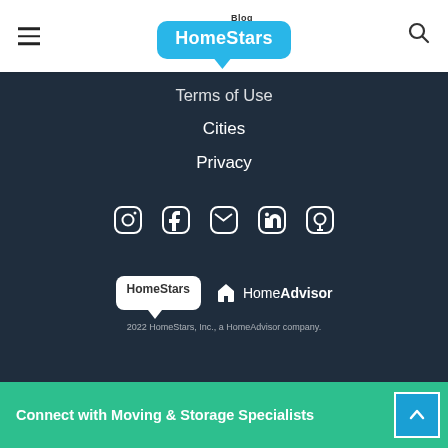HomeStars Blog
Terms of Use
Cities
Privacy
[Figure (other): Social media icons: Instagram, Facebook, Twitter, LinkedIn, Pinterest]
[Figure (logo): HomeStars logo (white speech bubble) and HomeAdvisor logo side by side]
2022 HomeStars, Inc., a HomeAdvisor company.
Connect with Moving & Storage Specialists